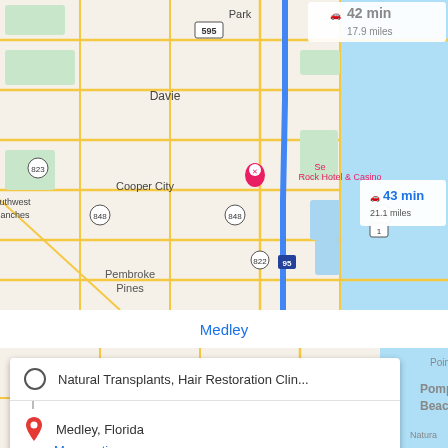[Figure (map): Google Maps screenshot showing driving routes from Natural Transplants Hair Restoration Clinic to Medley, Florida. Shows South Florida area including Davie, Cooper City, Pembroke Pines, Miramar, Hollywood, Hallandale Beach, Golden Beach, Aventura, North Miami Beach, Country Club, Miami Gardens. Multiple route time/distance overlays shown: 42 min / 17.9 miles (top right), 43 min / 21.1 miles (right panel), 42 min / 20.6 miles (center popup). Blue highlighted route runs along I-95. Destination marked with red pin near Golden Beach/Hallandale Beach area.]
Medley
[Figure (map): Google Maps partial view showing Pompano Beach area with direction card overlay]
Natural Transplants, Hair Restoration Clin...
Medley, Florida
More options